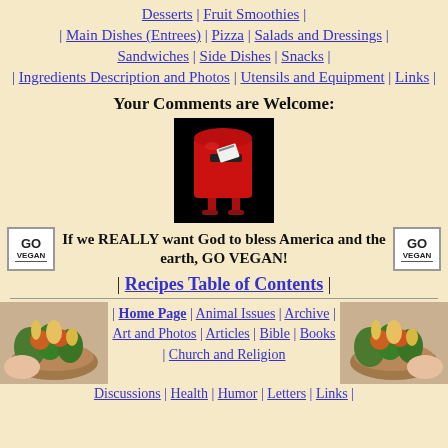Desserts | Fruit Smoothies | | Main Dishes (Entrees) | Pizza | Salads and Dressings | Sandwiches | Side Dishes | Snacks | | Ingredients Description and Photos | Utensils and Equipment | Links |
Your Comments are Welcome:
[Figure (illustration): A red mailbox/postbox with a letter sticking out, set against a black background]
If we REALLY want God to bless America and the earth, GO VEGAN!
| Recipes Table of Contents |
[Figure (photo): A basket or arrangement of colorful vegetables and produce on the left side]
| Home Page | Animal Issues | Archive | Art and Photos | Articles | Bible | Books | Church and Religion | Discussions | Health | Humor | Letters | Links |
[Figure (photo): A basket or arrangement of colorful vegetables and produce on the right side]